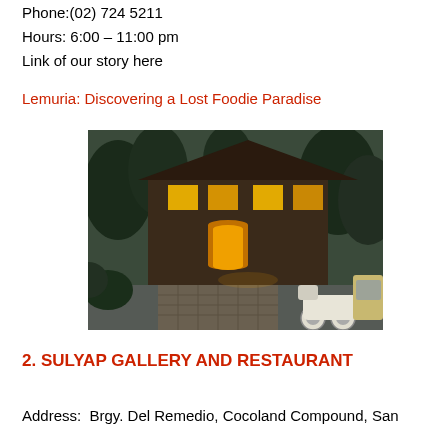Phone:(02) 724 5211
Hours: 6:00 – 11:00 pm
Link of our story here
Lemuria: Discovering a Lost Foodie Paradise
[Figure (photo): Exterior of a restaurant building at dusk, lit from inside, surrounded by tropical vegetation. A vintage scooter and classic car visible in the foreground on a paved driveway.]
2. SULYAP GALLERY AND RESTAURANT
Address:  Brgy. Del Remedio, Cocoland Compound, San